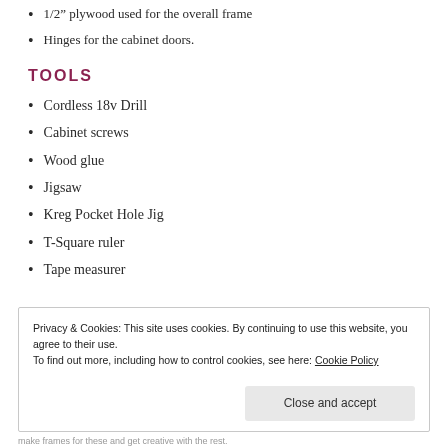1/2” plywood used for the overall frame
Hinges for the cabinet doors.
TOOLS
Cordless 18v Drill
Cabinet screws
Wood glue
Jigsaw
Kreg Pocket Hole Jig
T-Square ruler
Tape measurer
Privacy & Cookies: This site uses cookies. By continuing to use this website, you agree to their use. To find out more, including how to control cookies, see here: Cookie Policy
Close and accept
make frames for these and get creative with the rest.